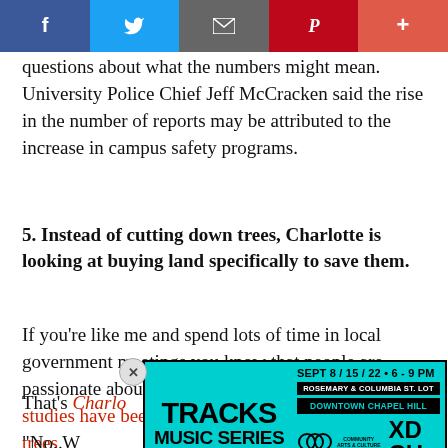[Figure (other): Social media share bar with Facebook, Twitter, email, Pinterest, and plus buttons]
questions about what the numbers might mean. University Police Chief Jeff McCracken said the rise in the number of reports may be attributed to the increase in campus safety programs.
5. Instead of cutting down trees, Charlotte is looking at buying land specifically to save them.
If you're like me and spend lots of time in local government meetings you know that people are passionate about their trees. In Durham, specifically, studies have been done about the importance of trees.
That's [partially obscured by ad] Charlotte [partially obscured] ight, "No. W[partially obscured]
[Figure (other): Advertisement for Tracks Music Series: SEPT 8/15/22 · 6-9 PM, Rosemary & Columbia St. Lot, Downtown Chapel Hill, Free Outdoor Concerts, Community Arts & Culture, XDCH logos]